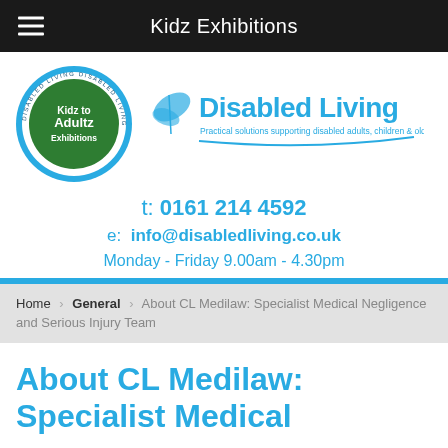Kidz Exhibitions
[Figure (logo): Kidz to Adultz Exhibitions circular logo alongside Disabled Living butterfly logo and text 'Disabled Living - Practical solutions supporting disabled adults, children & older people']
t: 0161 214 4592
e: info@disabledliving.co.uk
Monday - Friday 9.00am - 4.30pm
Home > General > About CL Medilaw: Specialist Medical Negligence and Serious Injury Team
About CL Medilaw: Specialist Medical...